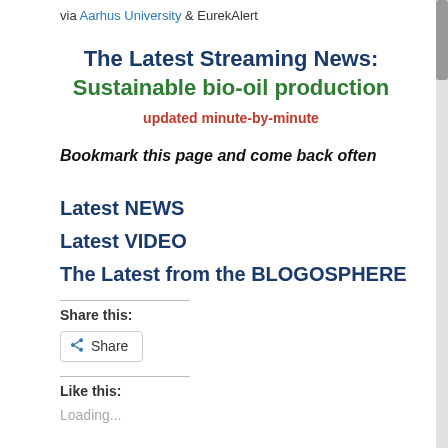via Aarhus University & EurekAlert
The Latest Streaming News: Sustainable bio-oil production updated minute-by-minute
Bookmark this page and come back often
Latest NEWS
Latest VIDEO
The Latest from the BLOGOSPHERE
Share this:
Share
Like this:
Loading...